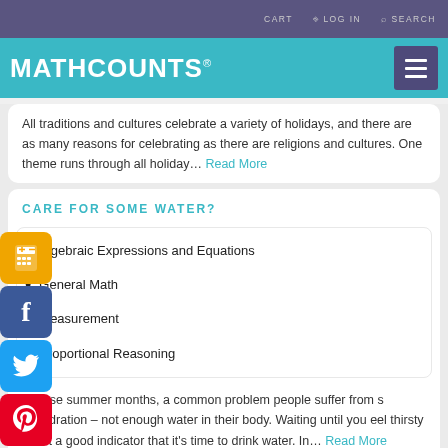CART  LOG IN  SEARCH
MATHCOUNTS®
All traditions and cultures celebrate a variety of holidays, and there are as many reasons for celebrating as there are religions and cultures. One theme runs through all holiday... Read More
CARE FOR SOME WATER?
Algebraic Expressions and Equations
General Math
Measurement
Proportional Reasoning
n these summer months, a common problem people suffer from s dehydration – not enough water in their body. Waiting until you eel thirsty is not a good indicator that it's time to drink water. In... Read More
2021 STATE COMPETITION